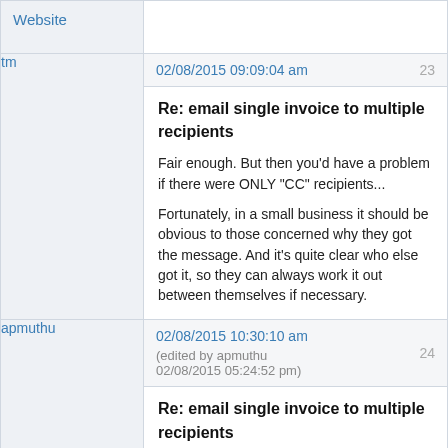| Website |  |
| --- | --- |
| tm | 02/08/2015 09:09:04 am | 23
Re: email single invoice to multiple recipients
Fair enough. But then you'd have a problem if there were ONLY "CC" recipients...
Fortunately, in a small business it should be obvious to those concerned why they got the message. And it's quite clear who else got it, so they can always work it out between themselves if necessary. |
| apmuthu | 02/08/2015 10:30:10 am (edited by apmuthu 02/08/2015 05:24:52 pm) | 24
Re: email single invoice to multiple recipients |